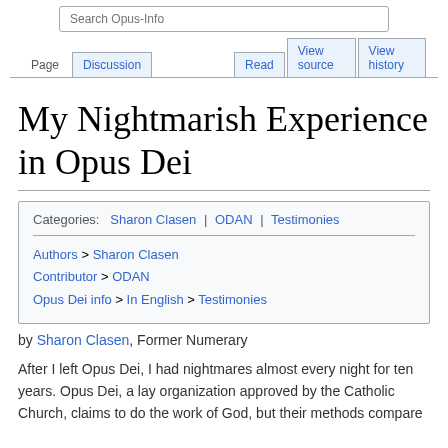Search Opus-Info
Page | Discussion | Read | View source | View history
My Nightmarish Experience in Opus Dei
| Categories |
| --- |
| Sharon Clasen | ODAN | Testimonies |
| Authors > Sharon Clasen | Contributor > ODAN | Opus Dei info > In English > Testimonies |
by Sharon Clasen, Former Numerary
After I left Opus Dei, I had nightmares almost every night for ten years. Opus Dei, a lay organization approved by the Catholic Church, claims to do the work of God, but their methods compare